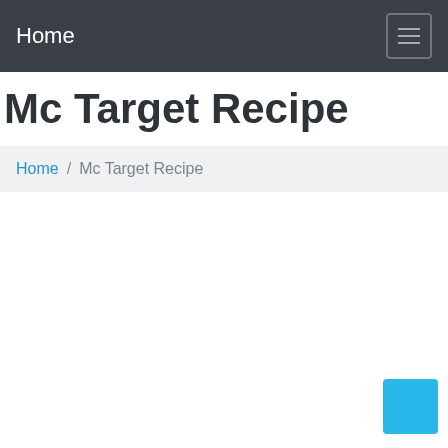Home
Mc Target Recipe
Home / Mc Target Recipe